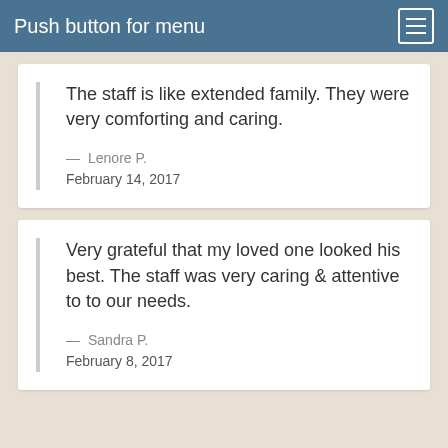Push button for menu
The staff is like extended family. They were very comforting and caring.
— Lenore P.
February 14, 2017
Very grateful that my loved one looked his best. The staff was very caring & attentive to to our needs.
— Sandra P.
February 8, 2017